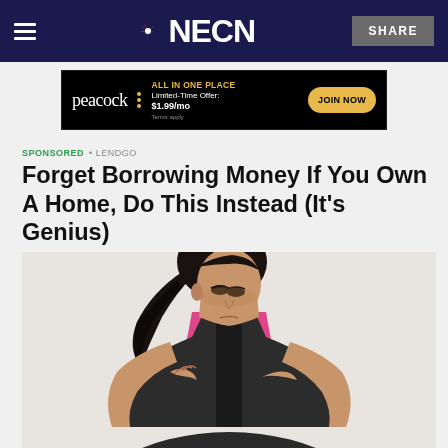NECN — navigation bar with hamburger menu, NBC peacock logo, NECN wordmark, and SHARE button
[Figure (infographic): Peacock streaming service advertisement banner: peacock logo, 'ALL IN ONE PLACE', 'Limited-Time Offer: $1.99/mo', 'JOIN NOW' button, 'Terms apply']
SPONSORED • LENDGO
Forget Borrowing Money If You Own A Home, Do This Instead (It's Genius)
[Figure (photo): Young woman with dark hair in a ponytail, wearing a dark athletic top with pink straps, clutching her chest with both hands, looking downward, appearing to be in distress, against a light gray/white background.]